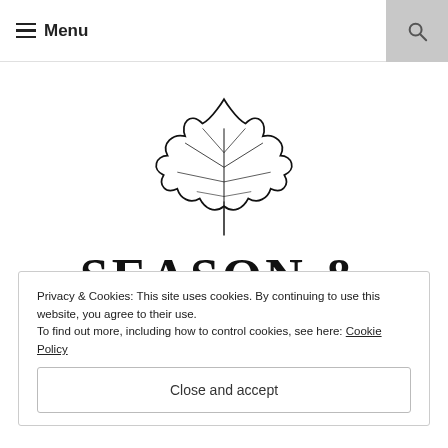Menu
[Figure (logo): Maple leaf illustration above the text 'SEASON & SERVE BLOG']
Privacy & Cookies: This site uses cookies. By continuing to use this website, you agree to their use. To find out more, including how to control cookies, see here: Cookie Policy
Close and accept
APPETIZERS